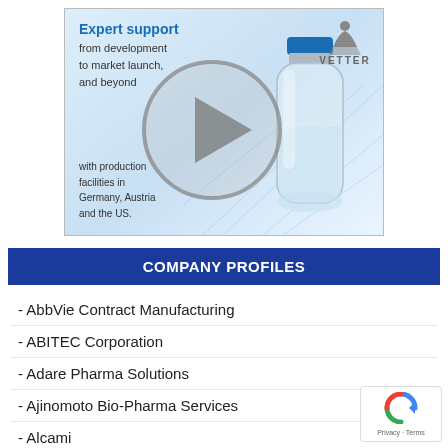[Figure (illustration): Vetter pharmaceutical advertisement showing a vial with blue cap, a play button overlay circle, and text: Expert support from development to market launch, and beyond. With production facilities in Germany, Austria and the US. Vetter logo top right.]
COMPANY PROFILES
- AbbVie Contract Manufacturing
- ABITEC Corporation
- Adare Pharma Solutions
- Ajinomoto Bio-Pharma Services
- Alcami